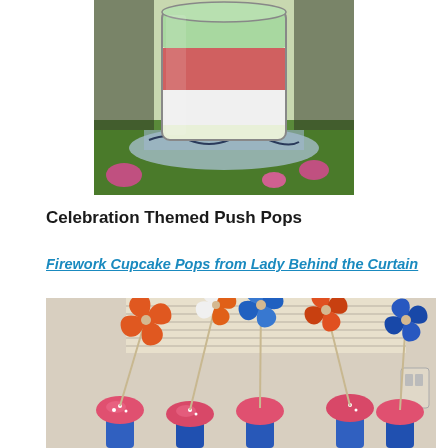[Figure (photo): Close-up photo of a layered push pop dessert in a clear cylinder container, showing layers of green, pink/red, and white cream, sitting in a decorative glass dish with greenery around it.]
Celebration Themed Push Pops
Firework Cupcake Pops from Lady Behind the Curtain
[Figure (photo): Photo of firework cupcake pops with colorful plastic pinwheel decorations (orange, blue, white) on sticks inserted into cupcakes with pink frosting and white sprinkles, displayed in blue push pop containers.]